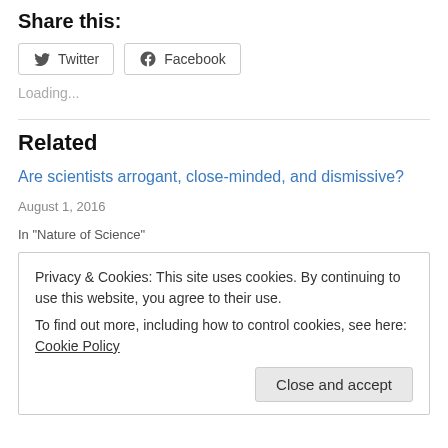Share this:
Twitter  Facebook
Loading...
Related
Are scientists arrogant, close-minded, and dismissive?
August 1, 2016
In "Nature of Science"
Privacy & Cookies: This site uses cookies. By continuing to use this website, you agree to their use. To find out more, including how to control cookies, see here: Cookie Policy
Close and accept